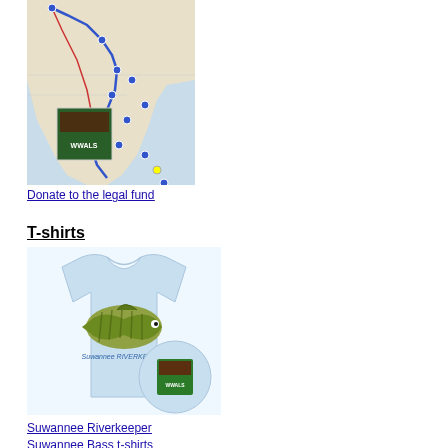[Figure (map): Road map of Florida and surrounding southeastern US states showing a route traced in blue and red lines with location markers]
Donate to the legal fund
T-shirts
[Figure (photo): Light blue t-shirt with a Suwannee bass fish graphic and text 'Suwannee RIVERKEEPER', with a detail view showing the back logo]
Suwannee Riverkeeper Suwannee Bass t-shirts